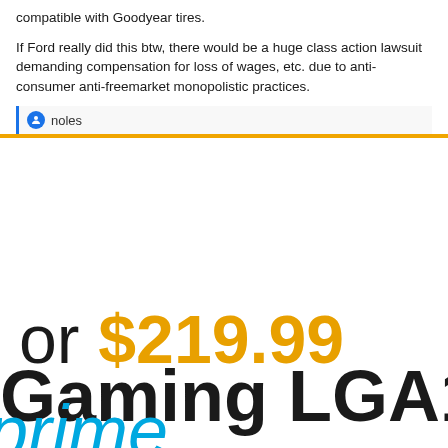compatible with Goodyear tires.
If Ford really did this btw, there would be a huge class action lawsuit demanding compensation for loss of wages, etc. due to anti-consumer anti-freemarket monopolistic practices.
noles
or $219.99
Gaming LGA115
prime